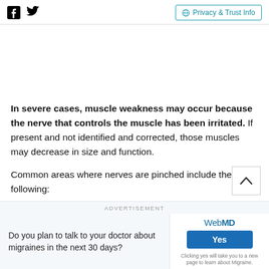Facebook Twitter | Privacy & Trust Info
In severe cases, muscle weakness may occur because the nerve that controls the muscle has been irritated. If present and not identified and corrected, those muscles may decrease in size and function.
Common areas where nerves are pinched include the following:
ADVERTISEMENT
Do you plan to talk to your doctor about migraines in the next 30 days?
WebMD Yes Clicking yes will take you to a new page to learn about Migraine.